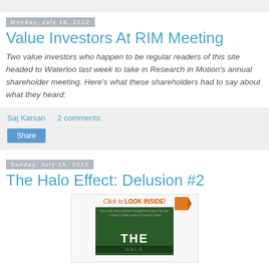Monday, July 16, 2012
Value Investors At RIM Meeting
Two value investors who happen to be regular readers of this site headed to Waterloo last week to take in Research in Motion's annual shareholder meeting. Here's what these shareholders had to say about what they heard:
Saj Karsan   2 comments:
Sunday, July 15, 2012
The Halo Effect: Delusion #2
[Figure (photo): Book cover for The Halo Effect with 'Click to LOOK INSIDE!' badge and green cover showing 'THE' text at the bottom]